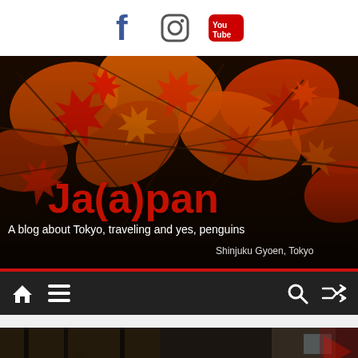Social media icons: Facebook, Instagram, YouTube
[Figure (photo): Autumn red and orange Japanese maple leaves close-up photo with blog title overlay. Title: Ja(a)pan. Subtitle: A blog about Tokyo, traveling and yes, penguins. Location: Shinjuku Gyoen, Tokyo]
Ja(a)pan
A blog about Tokyo, traveling and yes, penguins
Shinjuku Gyoen, Tokyo
[Figure (screenshot): Navigation bar with home icon, hamburger menu icon on the left, and search and shuffle icons on the right, on dark background]
[Figure (photo): Partial photo at bottom showing an indoor/industrial space with people, partially cut off]